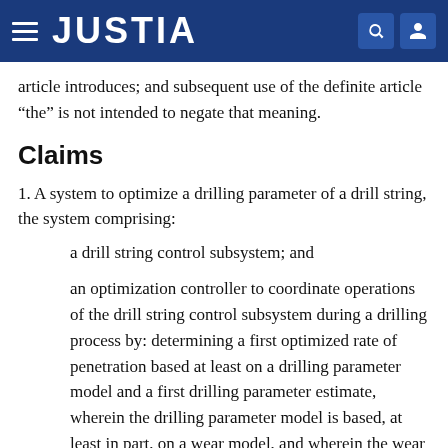JUSTIA
article introduces; and subsequent use of the definite article “the” is not intended to negate that meaning.
Claims
1. A system to optimize a drilling parameter of a drill string, the system comprising:
a drill string control subsystem; and
an optimization controller to coordinate operations of the drill string control subsystem during a drilling process by: determining a first optimized rate of penetration based at least on a drilling parameter model and a first drilling parameter estimate, wherein the drilling parameter model is based, at least in part, on a wear model, and wherein the wear model is a